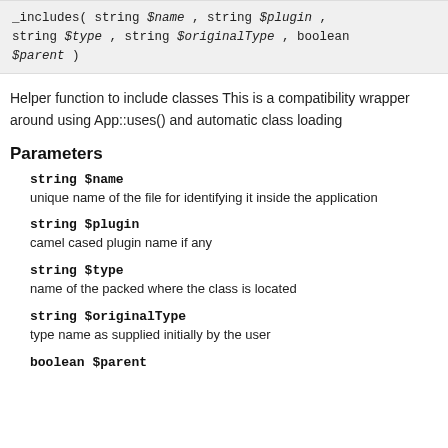_includes( string $name , string $plugin , string $type , string $originalType , boolean $parent )
Helper function to include classes This is a compatibility wrapper around using App::uses() and automatic class loading
Parameters
string $name
unique name of the file for identifying it inside the application
string $plugin
camel cased plugin name if any
string $type
name of the packed where the class is located
string $originalType
type name as supplied initially by the user
boolean $parent